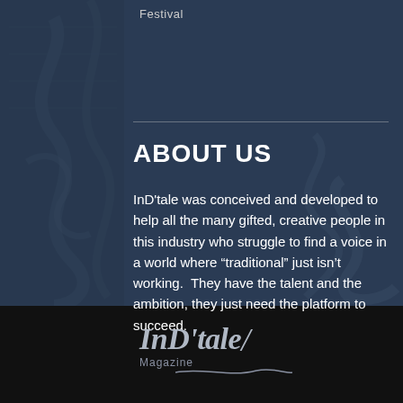Festival
ABOUT US
InD'tale was conceived and developed to help all the many gifted, creative people in this industry who struggle to find a voice in a world where "traditional" just isn't working.  They have the talent and the ambition, they just need the platform to succeed.
[Figure (logo): InD'tale Magazine logo in gray/silver serif font with italic styling and a decorative slash mark, with 'Magazine' subtitle below]
InD'tale Magazine